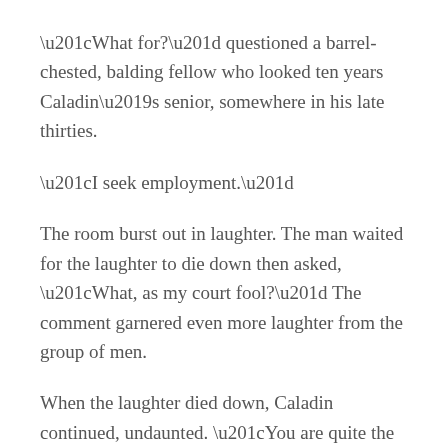“What for?” questioned a barrel-chested, balding fellow who looked ten years Caladin’s senior, somewhere in his late thirties.
“I seek employment.”
The room burst out in laughter. The man waited for the laughter to die down then asked, “What, as my court fool?” The comment garnered even more laughter from the group of men.
When the laughter died down, Caladin continued, undaunted. “You are quite the joculator, good sir. It would appear that you might have some words of wisdom to impart, as I can see you have great faculty for comedy. I certainly could not have stirred the